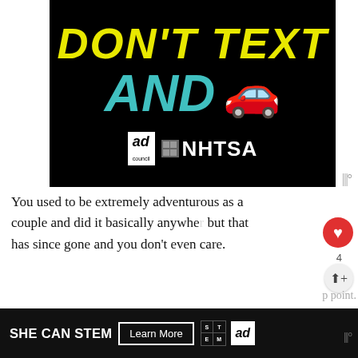[Figure (illustration): NHTSA / Ad Council 'Don't Text and Drive' public service ad on black background with yellow text 'DON'T TEXT', cyan text 'AND', red car emoji, and logos for Ad Council and NHTSA]
You used to be extremely adventurous as a couple and did it basically anywhere but that has since gone and you don't even care.
[Figure (other): What's Next thumbnail showing a person's silhouette]
WHAT'S NEXT → 10 Signs You're A...
When something doesn't feel right, it's
[Figure (illustration): SHE CAN STEM advertisement banner with Learn More button, STEM grid logo, and Ad Council logo on black background]